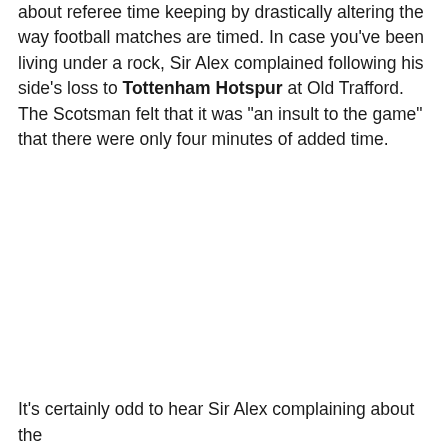about referee time keeping by drastically altering the way football matches are timed. In case you've been living under a rock, Sir Alex complained following his side's loss to Tottenham Hotspur at Old Trafford. The Scotsman felt that it was "an insult to the game" that there were only four minutes of added time.
It's certainly odd to hear Sir Alex complaining about the